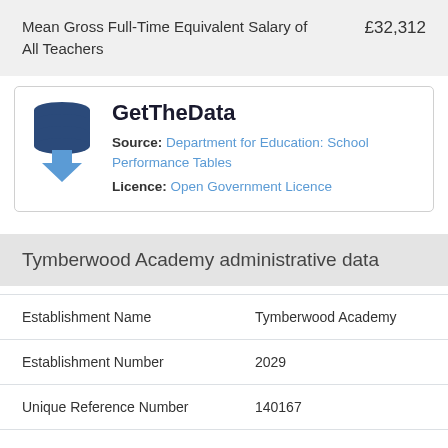| Mean Gross Full-Time Equivalent Salary of All Teachers | £32,312 |
[Figure (logo): GetTheData logo with stacked database icon and blue download arrow]
GetTheData
Source: Department for Education: School Performance Tables
Licence: Open Government Licence
Tymberwood Academy administrative data
| Establishment Name | Tymberwood Academy |
| Establishment Number | 2029 |
| Unique Reference Number | 140167 |